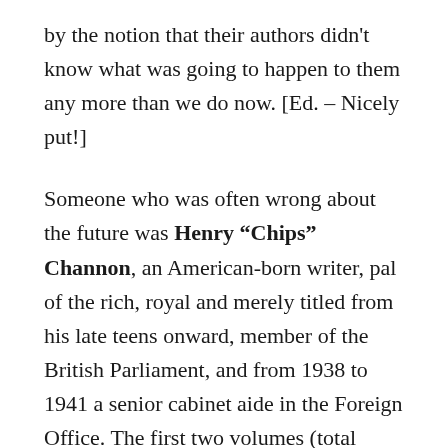by the notion that their authors didn't know what was going to happen to them any more than we do now. [Ed. – Nicely put!]
Someone who was often wrong about the future was Henry "Chips" Channon, an American-born writer, pal of the rich, royal and merely titled from his late teens onward, member of the British Parliament, and from 1938 to 1941 a senior cabinet aide in the Foreign Office. The first two volumes (total 2000+ pages) of his unexpurgated diaries were published in 2021 and edited brilliantly by Simon Hefner, whose dazzling footnotes include some tart